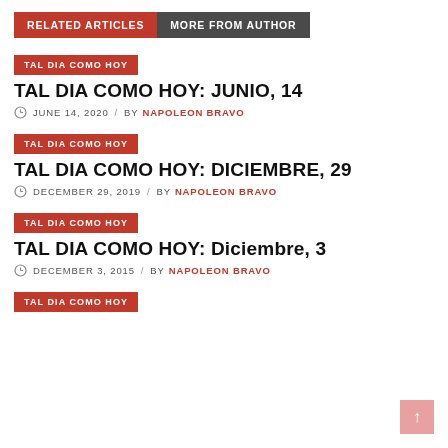RELATED ARTICLES | MORE FROM AUTHOR
TAL DIA COMO HOY
TAL DIA COMO HOY: JUNIO, 14
JUNE 14, 2020 / BY NAPOLEON BRAVO
TAL DIA COMO HOY
TAL DIA COMO HOY: DICIEMBRE, 29
DECEMBER 29, 2019 / BY NAPOLEON BRAVO
TAL DIA COMO HOY
TAL DIA COMO HOY: Diciembre, 3
DECEMBER 3, 2015 / BY NAPOLEON BRAVO
TAL DIA COMO HOY